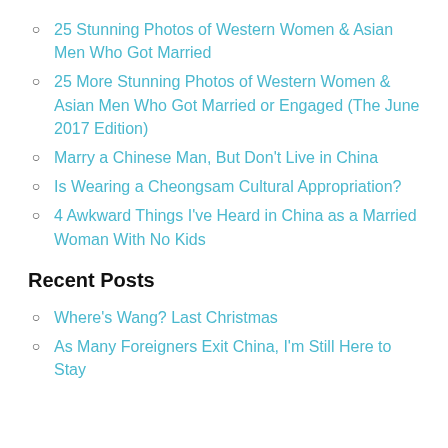25 Stunning Photos of Western Women & Asian Men Who Got Married
25 More Stunning Photos of Western Women & Asian Men Who Got Married or Engaged (The June 2017 Edition)
Marry a Chinese Man, But Don't Live in China
Is Wearing a Cheongsam Cultural Appropriation?
4 Awkward Things I've Heard in China as a Married Woman With No Kids
Recent Posts
Where's Wang? Last Christmas
As Many Foreigners Exit China, I'm Still Here to Stay